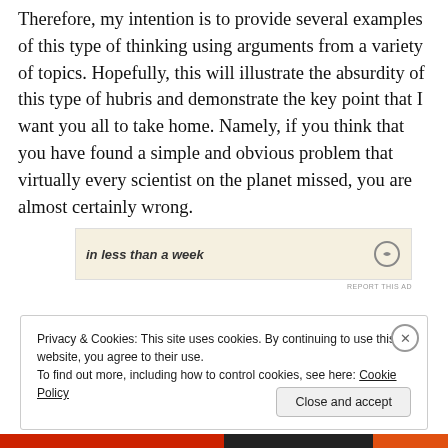Therefore, my intention is to provide several examples of this type of thinking using arguments from a variety of topics. Hopefully, this will illustrate the absurdity of this type of hubris and demonstrate the key point that I want you all to take home. Namely, if you think that you have found a simple and obvious problem that virtually every scientist on the planet missed, you are almost certainly wrong.
[Figure (other): Advertisement banner with italic text 'in less than a week' on a cream background with a circular icon on the right]
REPORT THIS AD
Privacy & Cookies: This site uses cookies. By continuing to use this website, you agree to their use.
To find out more, including how to control cookies, see here: Cookie Policy
Close and accept